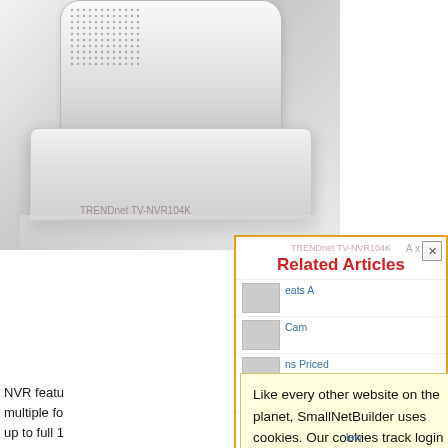[Figure (photo): Product photo of TRENDnet TV-NVR104K device, a white rectangular network video recorder with ventilation grilles, shown from above at an angle]
TRENDnet TV-NVR104K
Related Articles
NVR featu multiple fo up to full 1 at 30 fps ( compressi Internet ac camera ar modes wit auto-scan video with On screer functionalit
[Figure (screenshot): Related Articles sidebar panel with close button showing links to related articles with thumbnail images]
Like every other website on the planet, SmallNetBuilder uses cookies. Our cookies track login status, but we only allow admins to log in anyway, so those don't apply to you. Any other cookies you pick up during your visit come from advertisers, which we don't control.
If you continue to use the site, you agree to tolerate our use of cookies. Thank you!